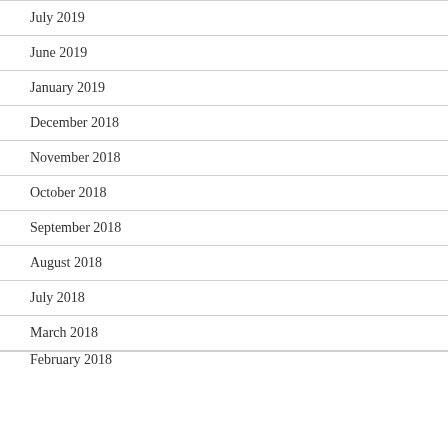July 2019
June 2019
January 2019
December 2018
November 2018
October 2018
September 2018
August 2018
July 2018
March 2018
February 2018